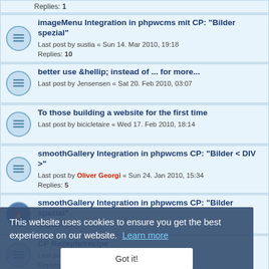Replies: 1
imageMenu Integration in phpwcms mit CP: "Bilder spezial"
Last post by sustia « Sun 14. Mar 2010, 19:18
Replies: 10
better use &hellip; instead of ... for more...
Last post by Jensensen « Sat 20. Feb 2010, 03:07
To those building a website for the first time
Last post by bicicletaire « Wed 17. Feb 2010, 18:14
smoothGallery Integration in phpwcms CP: "Bilder < DIV >"
Last post by Oliver Georgi « Sun 24. Jan 2010, 15:34
Replies: 5
smoothGallery Integration in phpwcms CP: "Bilder spezial"
Replies: 50
CP Rezepte/recipe
Last post by flip-flop « Mon 14. Dec 2009, 18:02
Replies: 8
Suche nach einem FAQ für Module
Last post by markus s « Wed 2. Dec 2009, 22:28
This website uses cookies to ensure you get the best experience on our website. Learn more
Got it!